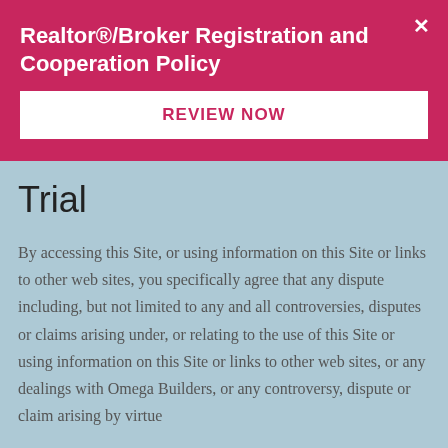Realtor®/Broker Registration and Cooperation Policy
REVIEW NOW
Trial
By accessing this Site, or using information on this Site or links to other web sites, you specifically agree that any dispute including, but not limited to any and all controversies, disputes or claims arising under, or relating to the use of this Site or using information on this Site or links to other web sites, or any dealings with Omega Builders, or any controversy, dispute or claim arising by virtue